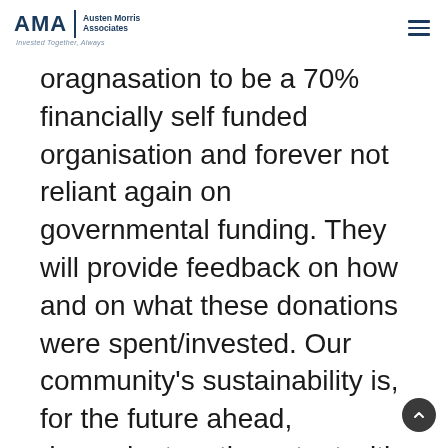AMA | Austen Morris Associates — Invested Together, Always
oragnasation to be a 70% financially self funded organisation and forever not reliant again on governmental funding. They will provide feedback on how and on what these donations were spent/invested. Our community's sustainability is, for the future ahead, dependent on the extent with which we can mobilize